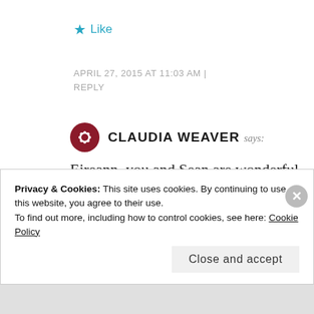★ Like
APRIL 27, 2015 AT 11:03 AM | REPLY
CLAUDIA WEAVER says:
Eireann, you and Sean are wonderful. I am a diehard Giants fan, but I think the two of you put a beautiful face on Bay Area baseball.
Privacy & Cookies: This site uses cookies. By continuing to use this website, you agree to their use. To find out more, including how to control cookies, see here: Cookie Policy
Close and accept